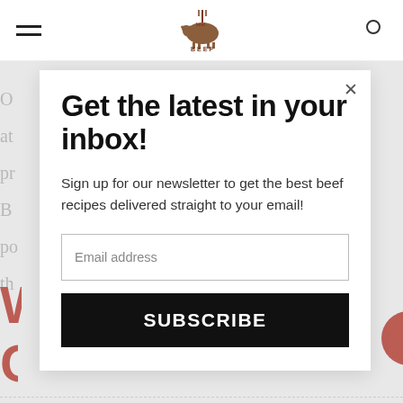[Figure (logo): Best Beef Recipes logo with a stylized cow/grill graphic at top center]
Get the latest in your inbox!
Sign up for our newsletter to get the best beef recipes delivered straight to your email!
Email address
SUBSCRIBE